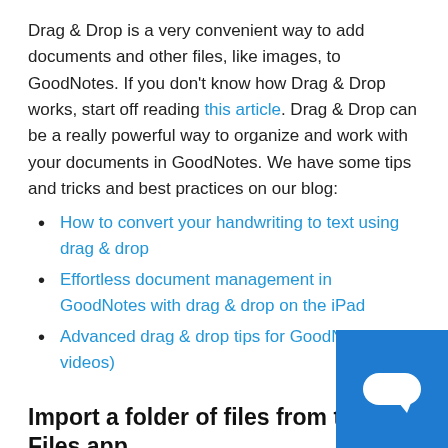Drag & Drop is a very convenient way to add documents and other files, like images, to GoodNotes. If you don't know how Drag & Drop works, start off reading this article. Drag & Drop can be a really powerful way to organize and work with your documents in GoodNotes. We have some tips and tricks and best practices on our blog:
How to convert your handwriting to text using drag & drop
Effortless document management in GoodNotes with drag & drop on the iPad
Advanced drag & drop tips for GoodNotes (with videos)
Import a folder of files from the Files app
1. Please compress that folder into a .zip file.